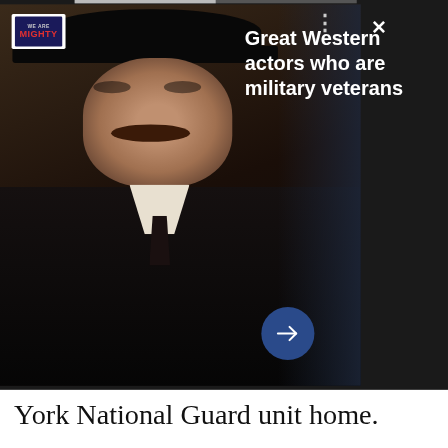[Figure (screenshot): Screenshot of a web page showing a dark-themed ad for 'We Are The Mighty' with a man in a cowboy hat and the text 'Great Western actors who are military veterans'. Includes navigation arrows and a close button.]
York National Guard unit home.
(National Archives)
With the parade over, the men were guided into subway cars and headed to the Park Avenue Amory, home of the 71st Regiment, for a which...
[Figure (screenshot): TrueCar advertisement banner: 'SHOP, COMPARE AND BUY NEW AND USED CARS' with 'LEARN MORE' button and TrueCar by Navy Federal logo.]